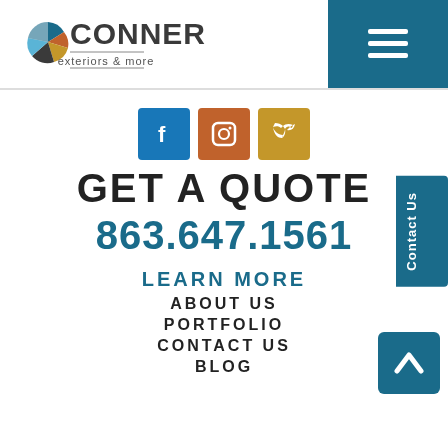[Figure (logo): Conner Exteriors & More company logo with colorful pinwheel graphic]
[Figure (infographic): Navigation hamburger menu icon (three horizontal white lines) on teal background]
[Figure (infographic): Social media icons: Facebook (blue), Instagram (orange-brown), Twitter (gold)]
GET A QUOTE
863.647.1561
LEARN MORE
ABOUT US
PORTFOLIO
CONTACT US
BLOG
Contact Us
[Figure (infographic): Scroll to top button with upward chevron arrow on teal background]